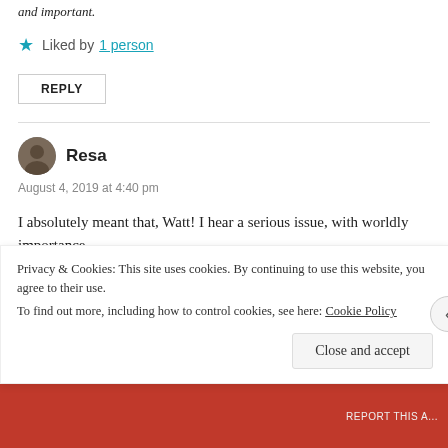and important.
★ Liked by 1 person
REPLY
Resa
August 4, 2019 at 4:40 pm
I absolutely meant that, Watt! I hear a serious issue, with worldly importance.
I think your prose goes beyond what you know you mean.
Privacy & Cookies: This site uses cookies. By continuing to use this website, you agree to their use.
To find out more, including how to control cookies, see here: Cookie Policy
Close and accept